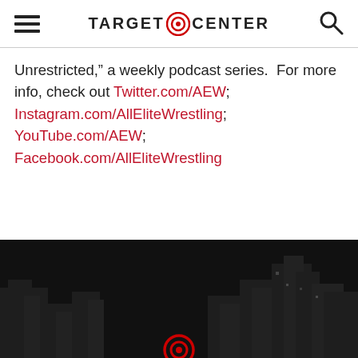TARGET CENTER
Unrestricted,” a weekly podcast series.  For more info, check out Twitter.com/AEW; Instagram.com/AllEliteWrestling; YouTube.com/AEW; Facebook.com/AllEliteWrestling
[Figure (photo): Dark nighttime cityscape/skyline with Target Center logo (bullseye) visible at bottom center, black and white toned image]